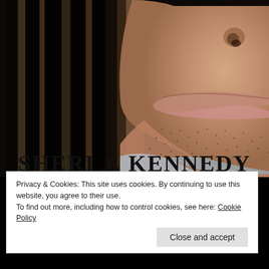[Figure (photo): Book cover image showing close-up of a man's lower face (jaw, lips, slight stubble) on the right side and dark hair on the left side, with a light blue collar visible. Author name 'SHERI J. KENNEDY' printed in large bold serif text at the bottom of the cover.]
Privacy & Cookies: This site uses cookies. By continuing to use this website, you agree to their use.
To find out more, including how to control cookies, see here: Cookie Policy
Close and accept